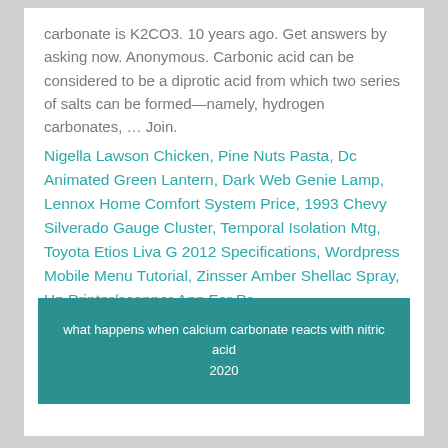carbonate is K2CO3. 10 years ago. Get answers by asking now. Anonymous. Carbonic acid can be considered to be a diprotic acid from which two series of salts can be formed—namely, hydrogen carbonates, … Join.
Nigella Lawson Chicken, Pine Nuts Pasta, Dc Animated Green Lantern, Dark Web Genie Lamp, Lennox Home Comfort System Price, 1993 Chevy Silverado Gauge Cluster, Temporal Isolation Mtg, Toyota Etios Liva G 2012 Specifications, Wordpress Mobile Menu Tutorial, Zinsser Amber Shellac Spray, Hp Printer/scanner App For Pc,
what happens when calcium carbonate reacts with nitric acid 2020